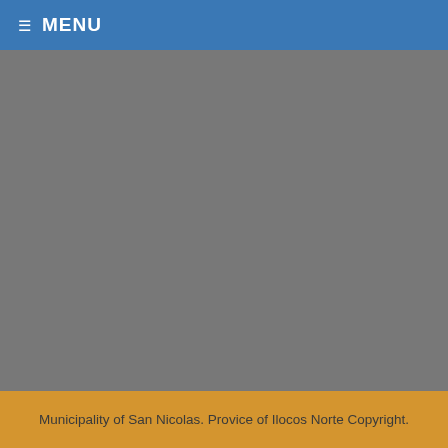≡ MENU
[Figure (other): Gray background content area, no visible content loaded]
Municipality of San Nicolas. Provice of Ilocos Norte Copyright.